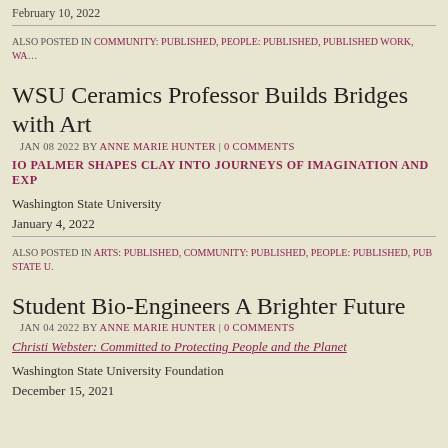February 10, 2022
ALSO POSTED IN COMMUNITY: PUBLISHED, PEOPLE: PUBLISHED, PUBLISHED WORK, WAS…
WSU Ceramics Professor Builds Bridges with Art
JAN 08 2022 BY ANNE MARIE HUNTER | 0 COMMENTS
IO PALMER SHAPES CLAY INTO JOURNEYS OF IMAGINATION AND EXP…
Washington State University
January 4, 2022
ALSO POSTED IN ARTS: PUBLISHED, COMMUNITY: PUBLISHED, PEOPLE: PUBLISHED, PUB… STATE U.
Student Bio-Engineers A Brighter Future
JAN 04 2022 BY ANNE MARIE HUNTER | 0 COMMENTS
Christi Webster: Committed to Protecting People and the Planet
Washington State University Foundation
December 15, 2021